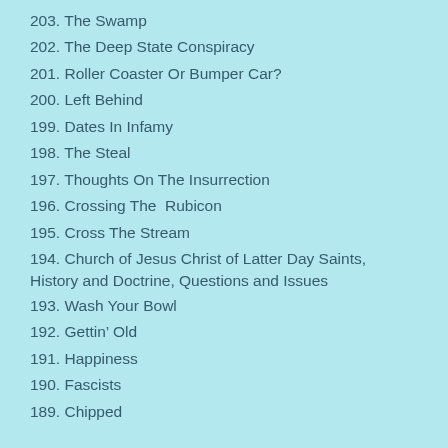203. The Swamp
202. The Deep State Conspiracy
201. Roller Coaster Or Bumper Car?
200. Left Behind
199. Dates In Infamy
198. The Steal
197. Thoughts On The Insurrection
196. Crossing The  Rubicon
195. Cross The Stream
194. Church of Jesus Christ of Latter Day Saints, History and Doctrine, Questions and Issues
193. Wash Your Bowl
192. Gettin’ Old
191. Happiness
190. Fascists
189. Chipped